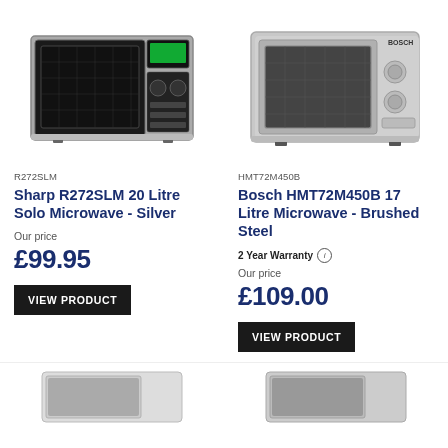[Figure (photo): Sharp R272SLM microwave oven in silver finish, shown at slight angle]
[Figure (photo): Bosch HMT72M450B microwave oven in brushed steel finish, front view]
R272SLM
Sharp R272SLM 20 Litre Solo Microwave - Silver
Our price
£99.95
VIEW PRODUCT
HMT72M450B
Bosch HMT72M450B 17 Litre Microwave - Brushed Steel
2 Year Warranty
Our price
£109.00
VIEW PRODUCT
[Figure (photo): Partial view of another microwave at bottom left]
[Figure (photo): Partial view of another microwave at bottom right]